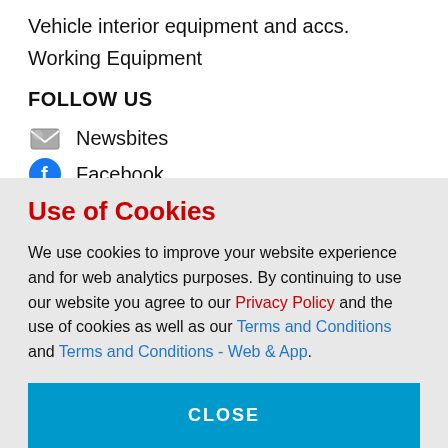Vehicle interior equipment and accs.
Working Equipment
FOLLOW US
Newsbites
Facebook
Instagram
Youtube
Twitter
Linkedin
Use of Cookies
We use cookies to improve your website experience and for web analytics purposes. By continuing to use our website you agree to our Privacy Policy and the use of cookies as well as our Terms and Conditions and Terms and Conditions - Web & App.
CLOSE